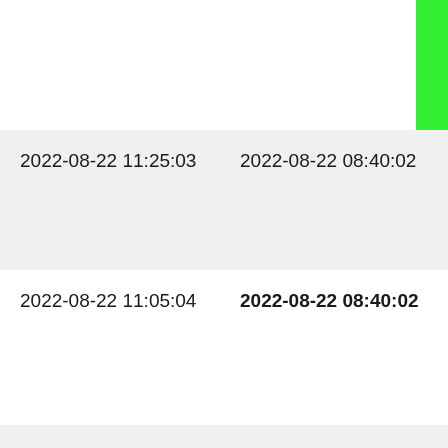| col1 | col2 | col3 |
| --- | --- | --- |
| 2022-08-22 11:25:03 | 2022-08-22 08:40:02 | cu |
| 2022-08-22 11:05:04 | 2022-08-22 08:40:02 | cu |
| 2022-08-22 10:45:04 | 2022-08-22 02:26:32 | 2. |